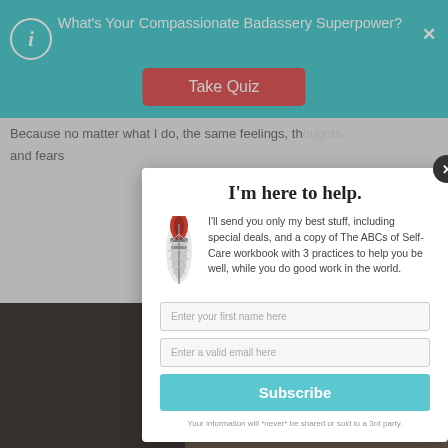What's Your Compassionate Badassery Superpower?
[Figure (screenshot): Take Quiz button in teal header bar]
Because no matter what I do, the same feelings, thoughts, and fears
So why m
I'm here to help.
I'll send you only my best stuff, including special deals, and a copy of The ABCs of Self-Care workbook with 3 practices to help you be well, while you do good work in the world.
Enter your first name here
Enter a valid email here
Subscribe
Your information will *never* be shared or sold to a 3rd party.